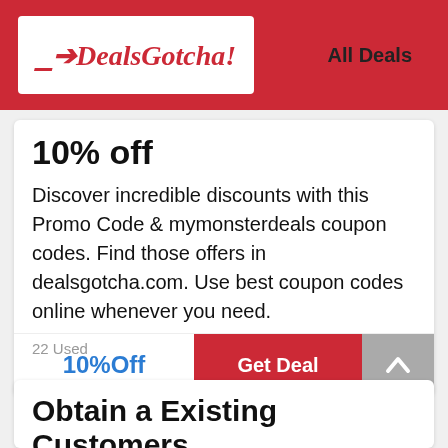DealsGotcha! — All Deals
10% off
Discover incredible discounts with this Promo Code & mymonsterdeals coupon codes. Find those offers in dealsgotcha.com. Use best coupon codes online whenever you need.
22 Used
10%Off
Get Deal
Obtain a Existing Customers